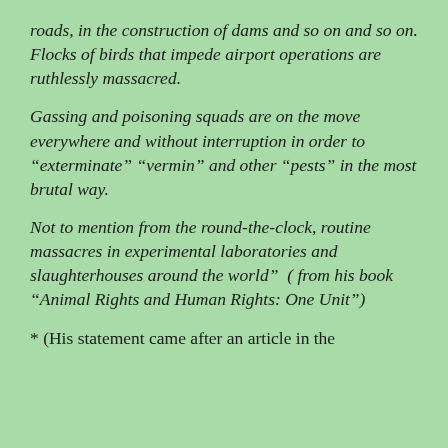roads, in the construction of dams and so on and so on.
Flocks of birds that impede airport operations are ruthlessly massacred.
Gassing and poisoning squads are on the move everywhere and without interruption in order to “exterminate” “vermin” and other “pests” in the most brutal way.
Not to mention from the round-the-clock, routine massacres in experimental laboratories and slaughterhouses around the world”  ( from his book “Animal Rights and Human Rights: One Unit”)
* (His statement came after an article in the